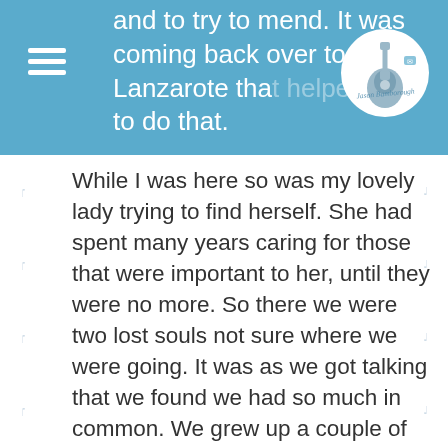and to try to mend. It was coming back over to Lanzarote that helped me to do that.
[Figure (logo): Guitar icon (white silhouette on circular background) with cursive signature overlay]
While I was here so was my lovely lady trying to find herself. She had spent many years caring for those that were important to her, until they were no more. So there we were two lost souls not sure where we were going. It was as we got talking that we found we had so much in common. We grew up a couple of miles from each other and went to the same places, but at different times. Our paths crossed in later years, but we never met until that night 7 years ago. Together in these short years we have been through so much together and it has made us stronger. So together we will get through this time of uncertainty and look forward to a brighter future together.